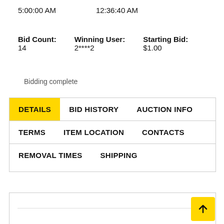5:00:00 AM    12:36:40 AM
Bid Count: 14    Winning User: 2****2    Starting Bid: $1.00
Bidding complete
DETAILS   BID HISTORY   AUCTION INFO   TERMS   ITEM LOCATION   CONTACTS   REMOVAL TIMES   SHIPPING